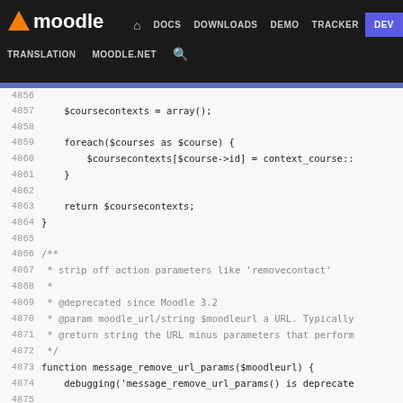Moodle — DOCS DOWNLOADS DEMO TRACKER DEV | TRANSLATION MOODLE.NET
[Figure (screenshot): Moodle developer documentation website navigation bar with logo and menu items]
Code viewer showing PHP source lines 4856–4882 from Moodle source code, including $coursecontexts = array(); foreach loop, return $coursecontexts;, function message_remove_url_params($moodleurl) with PHPDoc comments about stripping action parameters like removecontact, @deprecated since Moodle 3.2, @param moodle_url/string $moodleurl a URL, @return string the URL minus parameters that perform actions, debugging call, $newurl = new moodle_url($moodleurl);, $newurl->remove_params('addcontact','removecontact'), return $newurl->out();, closing brace, and start of next PHPDoc block.